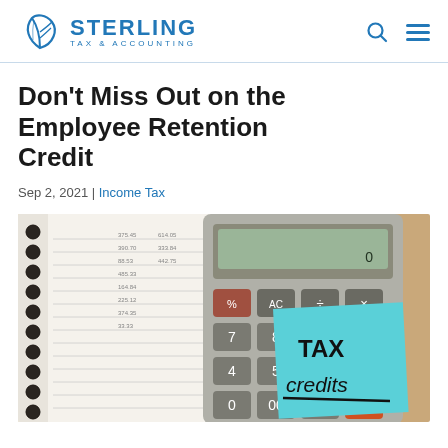Sterling Tax & Accounting
Don't Miss Out on the Employee Retention Credit
Sep 2, 2021 | Income Tax
[Figure (photo): Photo of a spiral notebook with numbers, a calculator with keys showing 0%, AC, 0, 00 and other buttons, and a blue sticky note with 'TAX credits' written on it in black marker, with the word 'credits' underlined.]